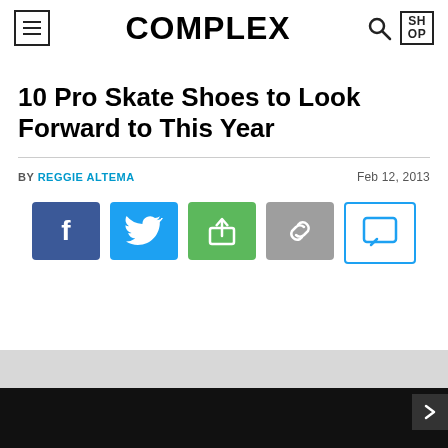COMPLEX
10 Pro Skate Shoes to Look Forward to This Year
BY REGGIE ALTEMA   Feb 12, 2013
[Figure (infographic): Social sharing buttons: Facebook (blue), Twitter (light blue), Share/upload (green), Link/copy (gray), Comment (white with blue border)]
[Figure (photo): Bottom section showing dark gray and black area, partially visible article image with a right-arrow navigation button]